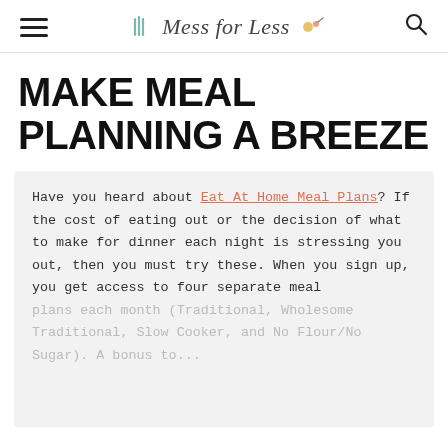Mess for Less
MAKE MEAL PLANNING A BREEZE
Have you heard about Eat At Home Meal Plans? If the cost of eating out or the decision of what to make for dinner each night is stressing you out, then you must try these. When you sign up, you get access to four separate meal plans each month (Traditional, Wholesome Traditional, Slow Cooker, and No Flour/No Sugar). A bonus to...